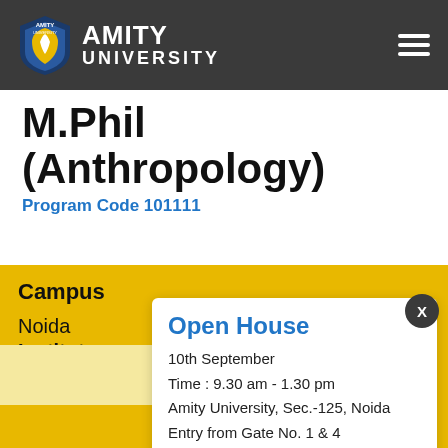Amity University
M.Phil (Anthropology)
Program Code 101111
Campus
Noida
Institute
Amity Institut...
Open House
10th September
Time : 9.30 am - 1.30 pm
Amity University, Sec.-125, Noida
Entry from Gate No. 1 & 4
SUBSCRIBE